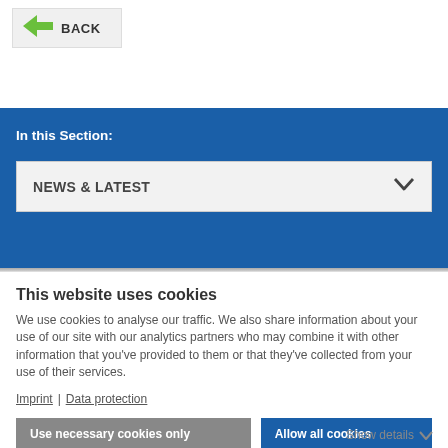[Figure (screenshot): Partial back navigation button with green arrow icon and 'BACK' label on a light grey background]
In this Section:
NEWS & LATEST
This website uses cookies
We use cookies to analyse our traffic. We also share information about your use of our site with our analytics partners who may combine it with other information that you've provided to them or that they've collected from your use of their services.
Imprint | Data protection
Use necessary cookies only
Allow all cookies
Show details